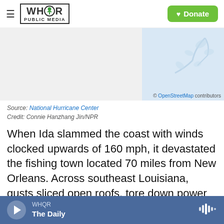WHQR PUBLIC MEDIA — Donate
[Figure (map): Map showing a geographic area, partially rendered with OpenStreetMap tiles. Left portion is light gray, right portion shows a light blue area with leaf/branch watermark. Attribution reads: © OpenStreetMap contributors]
Source: National Hurricane Center
Credit: Connie Hanzhang Jin/NPR
When Ida slammed the coast with winds clocked upwards of 160 mph, it devastated the fishing town located 70 miles from New Orleans. Across southeast Louisiana, gusts sliced open roofs, tore down power lines and overturned mobile homes and boats. Although the levees largely held back
WHQR — The Daily (audio player)